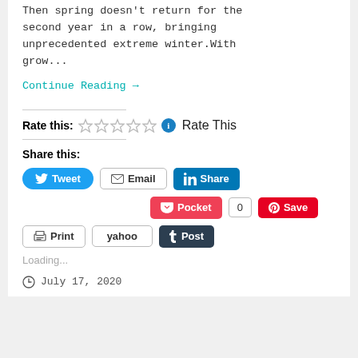Then spring doesn't return for the second year in a row, bringing unprecedented extreme winter.With grow...
Continue Reading →
Rate this: ☆☆☆☆☆ ℹ Rate This
Share this:
Tweet  Email  Share
Pocket  0  Save
Print  yahoo  Post
Loading...
July 17, 2020